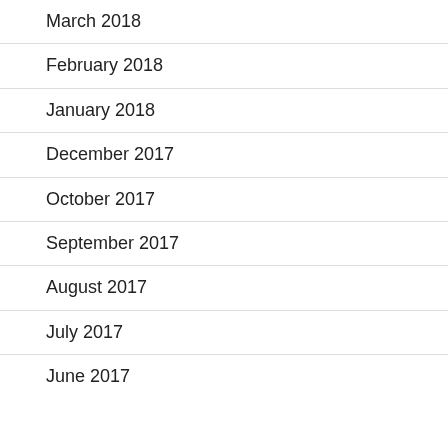March 2018
February 2018
January 2018
December 2017
October 2017
September 2017
August 2017
July 2017
June 2017